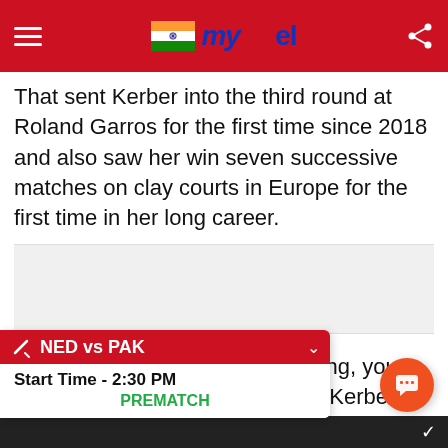myKhel
That sent Kerber into the third round at Roland Garros for the first time since 2018 and also saw her win seven successive matches on clay courts in Europe for the first time in her long career.
[Figure (other): Advertisement placeholder box]
"When you've achieved everything, you just play for the ... Kerber explained after her win. ... love to play here in front of you ... r the atmosphere and working really hard to play here, have the energy from the fans
NED vs PAK
Start Time - 2:30 PM
PREMATCH